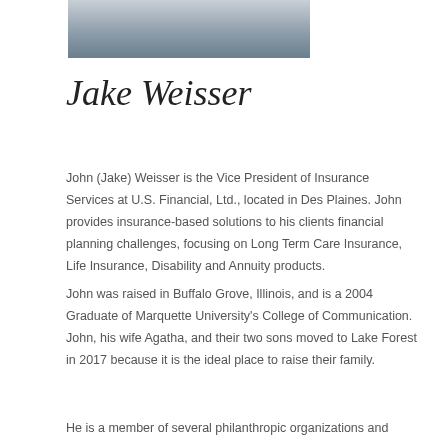[Figure (photo): Headshot photo of Jake Weisser, a man in a suit, cropped at the top of the page]
Jake Weisser
John (Jake) Weisser is the Vice President of Insurance Services at U.S. Financial, Ltd., located in Des Plaines. John provides insurance-based solutions to his clients financial planning challenges, focusing on Long Term Care Insurance, Life Insurance, Disability and Annuity products.
John was raised in Buffalo Grove, Illinois, and is a 2004 Graduate of Marquette University's College of Communication. John, his wife Agatha, and their two sons moved to Lake Forest in 2017 because it is the ideal place to raise their family.
He is a member of several philanthropic organizations and